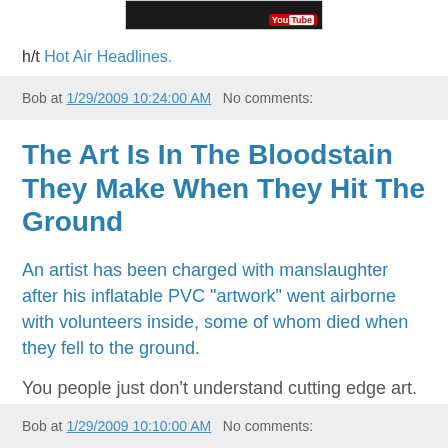[Figure (screenshot): YouTube video player thumbnail, black background with YouTube logo in lower right corner]
h/t Hot Air Headlines.
Bob at 1/29/2009 10:24:00 AM   No comments:
The Art Is In The Bloodstain They Make When They Hit The Ground
An artist has been charged with manslaughter after his inflatable PVC "artwork" went airborne with volunteers inside, some of whom died when they fell to the ground.
You people just don't understand cutting edge art.
Bob at 1/29/2009 10:10:00 AM   No comments: